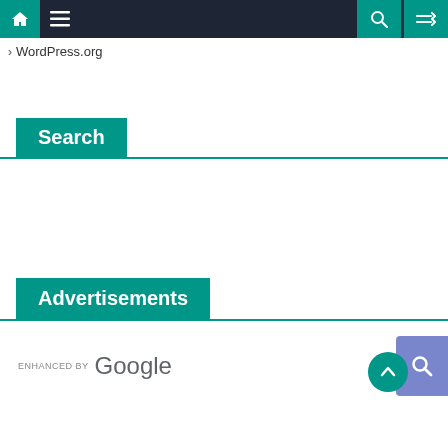Navigation bar with home, menu, search, and shuffle icons
> WordPress.org
Search
[Figure (screenshot): Google enhanced search bar with search button]
Advertisements
[Figure (other): Back to top arrow button]